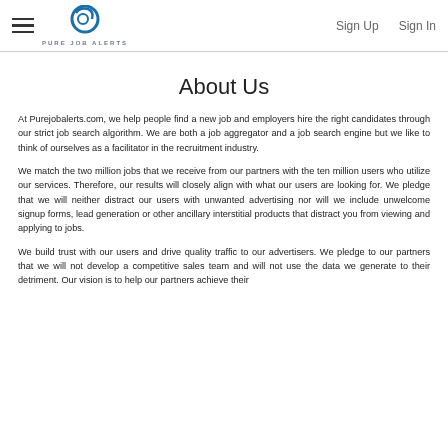Pure Job Alerts — Sign Up | Sign In
About Us
At Purejobalerts.com, we help people find a new job and employers hire the right candidates through our strict job search algorithm. We are both a job aggregator and a job search engine but we like to think of ourselves as a facilitator in the recruitment industry.
We match the two million jobs that we receive from our partners with the ten million users who utilize our services. Therefore, our results will closely align with what our users are looking for. We pledge that we will neither distract our users with unwanted advertising nor will we include unwelcome signup forms, lead generation or other ancillary interstitial products that distract you from viewing and applying to jobs.
We build trust with our users and drive quality traffic to our advertisers. We pledge to our partners that we will not develop a competitive sales team and will not use the data we generate to their detriment. Our vision is to help our partners achieve their